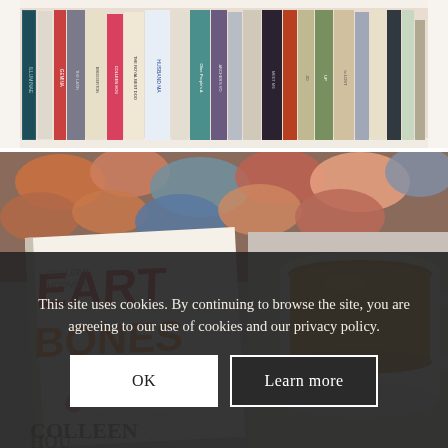[Figure (photo): A photograph of a bookshelf filled with colorful books standing upright, including titles such as 'Husband Material', 'Colleen Hoover', 'Bridgerton', 'Archer's Voice', 'Meet Me', and others, viewed from below.]
[Figure (photo): A flat-lay photograph showing the book 'Heart Bones' by Colleen Hoover placed on a colorful knitted/woven fabric surface next to a white mug filled with coffee or tea. The book cover shows the title 'Heart Bones' in large red-orange and yellow gradient letters with floral and skull illustrations.]
This site uses cookies. By continuing to browse the site, you are agreeing to our use of cookies and our privacy policy.
OK
Learn more